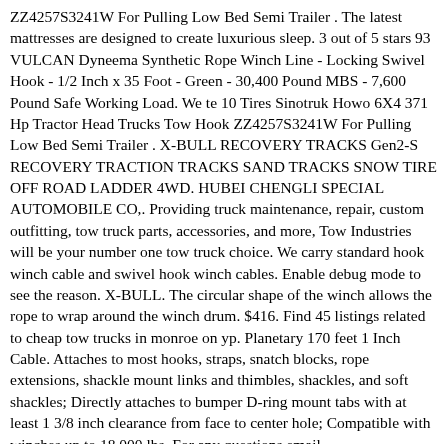ZZ4257S3241W For Pulling Low Bed Semi Trailer . The latest mattresses are designed to create luxurious sleep. 3 out of 5 stars 93 VULCAN Dyneema Synthetic Rope Winch Line - Locking Swivel Hook - 1/2 Inch x 35 Foot - Green - 30,400 Pound MBS - 7,600 Pound Safe Working Load. We te 10 Tires Sinotruk Howo 6X4 371 Hp Tractor Head Trucks Tow Hook ZZ4257S3241W For Pulling Low Bed Semi Trailer . X-BULL RECOVERY TRACKS Gen2-S RECOVERY TRACTION TRACKS SAND TRACKS SNOW TIRE OFF ROAD LADDER 4WD. HUBEI CHENGLI SPECIAL AUTOMOBILE CO,. Providing truck maintenance, repair, custom outfitting, tow truck parts, accessories, and more, Tow Industries will be your number one tow truck choice. We carry standard hook winch cable and swivel hook winch cables. Enable debug mode to see the reason. X-BULL. The circular shape of the winch allows the rope to wrap around the winch drum. $416. Find 45 listings related to cheap tow trucks in monroe on yp. Planetary 170 feet 1 Inch Cable. Attaches to most hooks, straps, snatch blocks, rope extensions, shackle mount links and thimbles, shackles, and soft shackles; Directly attaches to bumper D-ring mount tabs with at least 1 3/8 inch clearance from face to center hole; Compatible with winches up to 18,000 lbs. For any questions email brownequipsales@gmail. Compare to. (135) Write a Review. $16. Expect nothing less than powerful performance from these winches including ATV winch, DC winch, AC winch, and accessories from top brands including Ramsey, Mile Marker and